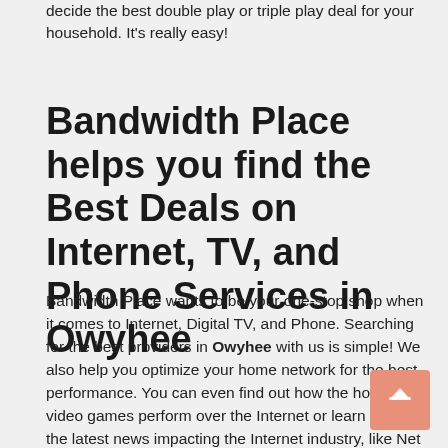decide the best double play or triple play deal for your household. It’s really easy!
Bandwidth Place helps you find the Best Deals on Internet, TV, and Phone Services in Owyhee
Bandwidth Place wants to be your one-stop shop when it comes to Internet, Digital TV, and Phone. Searching for the best providers in Owyhee with us is simple! We also help you optimize your home network for the best performance. You can even find out how the hottest 4K video games perform over the Internet or learn about the latest news impacting the Internet industry, like Net Neutrality.